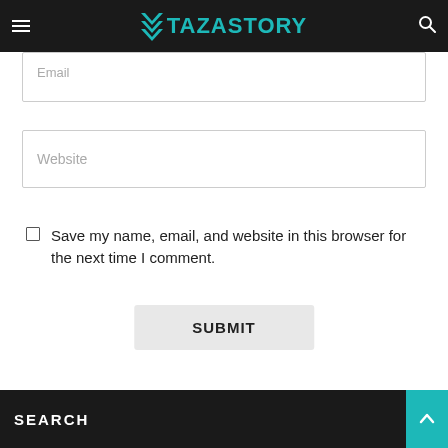TAZASTORY
Email
Website
Save my name, email, and website in this browser for the next time I comment.
SUBMIT
SEARCH